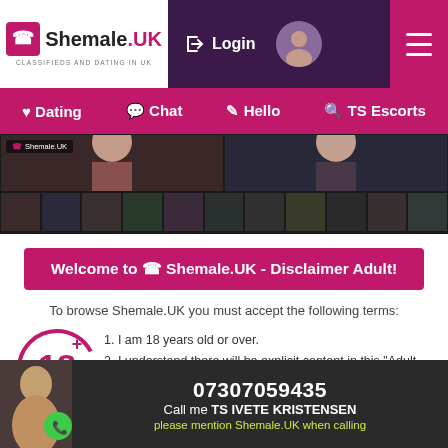Shemale.UK - CLASSIFIEDS AND DATING IN UK | Login | Dating | Chat | Hello | TS Escorts
[Figure (screenshot): Photo strip banner showing multiple profile photos of people]
Welcome to Shemale.UK - Disclaimer Adult!
To browse Shemale.UK you must accept the following terms:
1. I am 18 years old or over.
2. I understand there will be explicit content in this "Adult website".
3. By clicking on "I accept" below, I discharge all Internet providers, owners and founders of Shemale.uk of any responsibility regarding
07307059435 Call me TS IVETE KRISTENSEN please mention Shemale.UK when calling